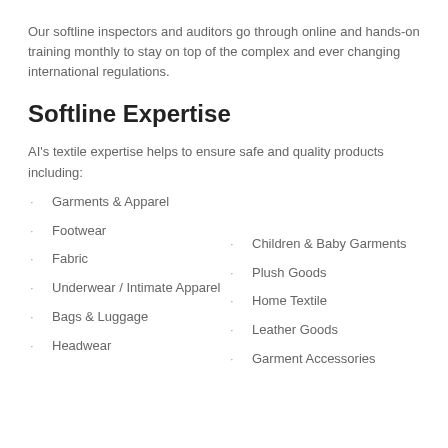Our softline inspectors and auditors go through online and hands-on training monthly to stay on top of the complex and ever changing international regulations.
Softline Expertise
AI's textile expertise helps to ensure safe and quality products including:
Garments & Apparel
Footwear
Children & Baby Garments
Fabric
Plush Goods
Underwear / Intimate Apparel
Home Textile
Leather Goods
Bags & Luggage
Garment Accessories
Headwear